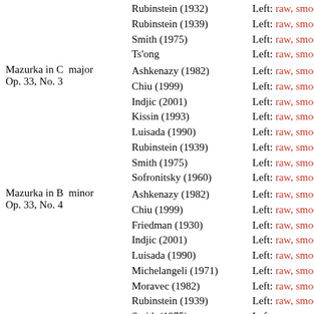Rubinstein (1932) — Left: raw, smooth [s
Rubinstein (1939) — Left: raw, smooth [s
Smith (1975) — Left: raw, smooth [s
Ts'ong — Left: raw, smooth [s
Mazurka in C major Op. 33, No. 3
Ashkenazy (1982) — Left: raw, smooth [s
Chiu (1999) — Left: raw, smooth [s
Indjic (2001) — Left: raw, smooth [s
Kissin (1993) — Left: raw, smooth [s
Luisada (1990) — Left: raw, smooth [s
Rubinstein (1939) — Left: raw, smooth [s
Smith (1975) — Left: raw, smooth [s
Sofronitsky (1960) — Left: raw, smooth [s
Mazurka in B minor Op. 33, No. 4
Ashkenazy (1982) — Left: raw, smooth [s
Chiu (1999) — Left: raw, smooth [s
Friedman (1930) — Left: raw, smooth [s
Indjic (2001) — Left: raw, smooth [s
Luisada (1990) — Left: raw, smooth [s
Michelangeli (1971) — Left: raw, smooth [s
Moravec (1982) — Left: raw, smooth [s
Rubinstein (1939) — Left: raw, smooth [s
Smith (1975) — Left: raw, smooth [s
Sofronitsky (1960) — Left: raw, smooth [s
Mazurka in C# minor Op. 41, No. 1
Chiu (1999) — Left: raw, smooth [s
Freire (1984) — Left: raw, smooth [s
Friedman (1930) — Left: raw, smooth [s